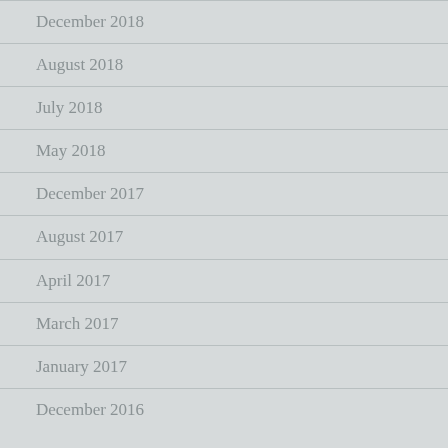December 2018
August 2018
July 2018
May 2018
December 2017
August 2017
April 2017
March 2017
January 2017
December 2016